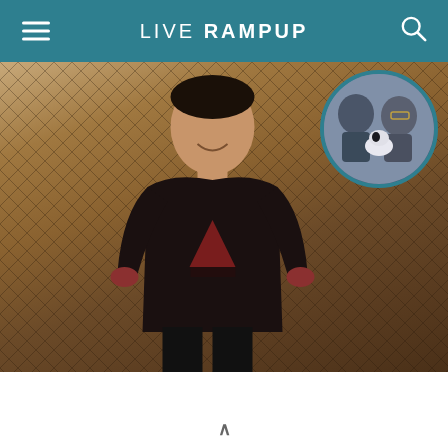LIVE RAMPUP
[Figure (photo): Main photo of a smiling man in a black t-shirt with a triangle/STRONG graphic, standing in front of a batting cage net. A circular inset photo in the upper right shows two people holding a black and white dog.]
v